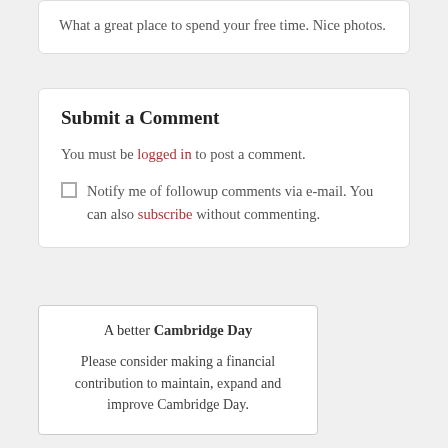What a great place to spend your free time. Nice photos.
Submit a Comment
You must be logged in to post a comment.
Notify me of followup comments via e-mail. You can also subscribe without commenting.
A better Cambridge Day
Please consider making a financial contribution to maintain, expand and improve Cambridge Day.